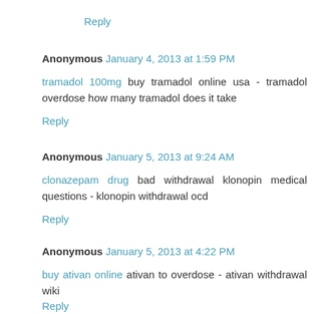Reply
Anonymous  January 4, 2013 at 1:59 PM
tramadol 100mg buy tramadol online usa - tramadol overdose how many tramadol does it take
Reply
Anonymous  January 5, 2013 at 9:24 AM
clonazepam drug bad withdrawal klonopin medical questions - klonopin withdrawal ocd
Reply
Anonymous  January 5, 2013 at 4:22 PM
buy ativan online ativan to overdose - ativan withdrawal wiki
Reply